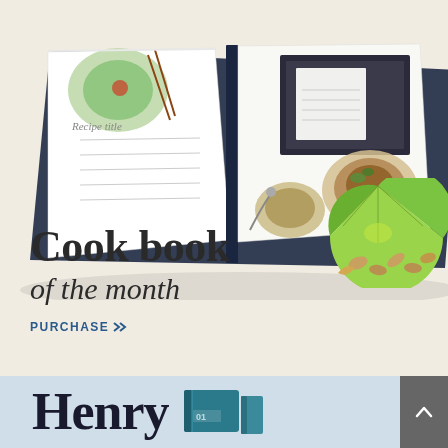[Figure (photo): Open cookbook displayed at an angle showing food photography and recipe pages with dark navy hardcover binding]
Cook book
of the month
PURCHASE »
[Figure (photo): Lime half and scattered almonds/cashews on cream background]
[Figure (photo): Teal/blue hardcover book with number 01 on spine, partially visible at bottom of page]
Henry